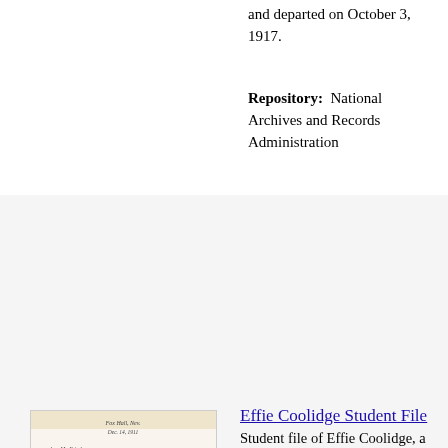and departed on October 3, 1917.
Repository: National Archives and Records Administration
[Figure (photo): Handwritten letter on aged paper, signed at the bottom.]
Effie Coolidge Student File
Student file of Effie Coolidge, a member of the Shoshone Nation, who entered the school on September 10, 1913 and departed on June 21, 1916. The file contains a student information card, an application for enrollment, a medical/physical record, an